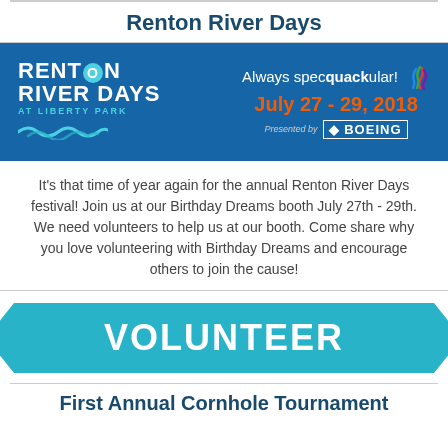Renton River Days
[Figure (illustration): Renton River Days festival banner with logo on the left showing 'RENTON RIVER DAYS AT LIBERTY PARK' and wave graphic, and on the right 'Always specquackular!' tagline with duck graphic, 'July 27 - 29, 2018' date in orange, and 'Presented by BOEING' on a blue background.]
It's that time of year again for the annual Renton River Days festival! Join us at our Birthday Dreams booth July 27th - 29th. We need volunteers to help us at our booth. Come share why you love volunteering with Birthday Dreams and encourage others to join the cause!
[Figure (infographic): Teal arrow/chevron banner with the word VOLUNTEER in large white bold letters.]
First Annual Cornhole Tournament